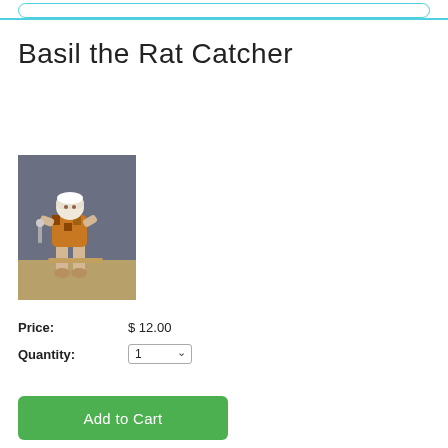Basil the Rat Catcher
[Figure (photo): A seated puppet or figurine character dressed in colorful clothing, sitting on a ledge, appearing to be 'Basil the Rat Catcher']
Price: $ 12.00
Quantity: 1
Add to Cart